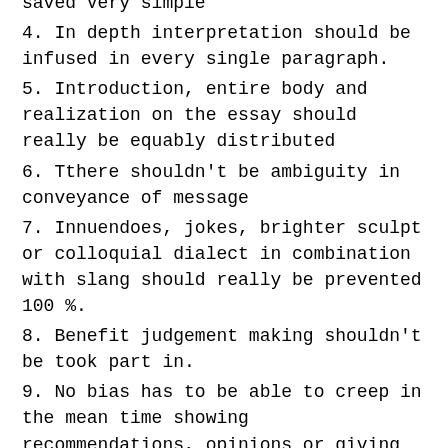saved Very simple
4. In depth interpretation should be infused in every single paragraph.
5. Introduction, entire body and realization on the essay should really be equably distributed
6. Tthere shouldn't be ambiguity in conveyance of message
7. Innuendoes, jokes, brighter sculpt or colloquial dialect in combination with slang should really be prevented 100 %.
8. Benefit judgement making shouldn't be took part in.
9. No bias has to be able to creep in the mean time showing recommendations, opinions or giving an analytic perspective.
10. The essay ought to satisfy the conditions to get insightful and infused with interpretation difference between began vs begun within the